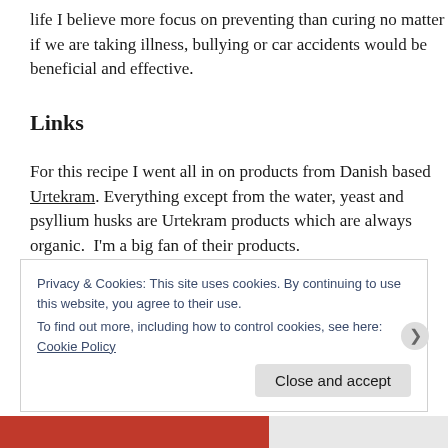life I believe more focus on preventing than curing no matter if we are taking illness, bullying or car accidents would be beneficial and effective.
Links
For this recipe I went all in on products from Danish based Urtekram. Everything except from the water, yeast and psyllium husks are Urtekram products which are always organic.  I’m a big fan of their products.
Privacy & Cookies: This site uses cookies. By continuing to use this website, you agree to their use.
To find out more, including how to control cookies, see here: Cookie Policy
Close and accept